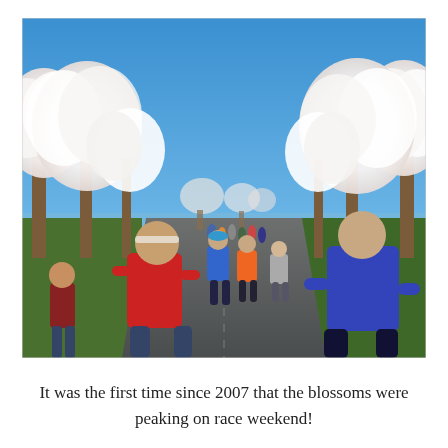[Figure (photo): Runners racing down a road lined with blooming white cherry blossom trees under a clear blue sky, with a body of water visible in the background.]
It was the first time since 2007 that the blossoms were peaking on race weekend!